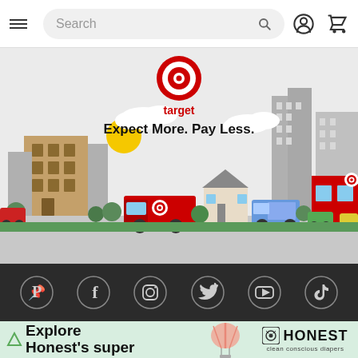≡  Search  🔍  👤  🛒
[Figure (illustration): Target brand hero banner: Target bullseye logo and 'target' wordmark in red, tagline 'Expect More. Pay Less.' in bold black, illustrated cityscape with Target delivery trucks, buildings, trees, houses, and cars on a light gray background with a yellow sun and white clouds.]
[Figure (infographic): Dark gray social media icon bar with circular icons for Pinterest, Facebook, Instagram, Twitter, YouTube, and TikTok]
[Figure (illustration): Bottom advertisement banner with light green background showing 'Explore Honest's super...' text in bold black on left, a peach/coral hot air balloon illustration in center-right, and Honest 'clean conscious diapers' logo on right]